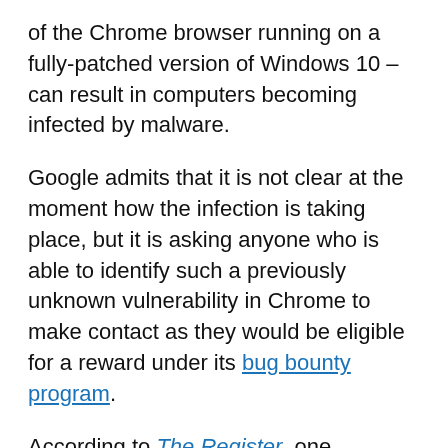of the Chrome browser running on a fully-patched version of Windows 10 – can result in computers becoming infected by malware.
Google admits that it is not clear at the moment how the infection is taking place, but it is asking anyone who is able to identify such a previously unknown vulnerability in Chrome to make contact as they would be eligible for a reward under its bug bounty program.
According to The Register, one researcher was targeted by the North Korean hackers was zero-day vulnerability hunter Alejandro Caceres, the co-founder of US-based security research outfit Hyperion Gray.
Caceres said that he had been contacted by a bogus